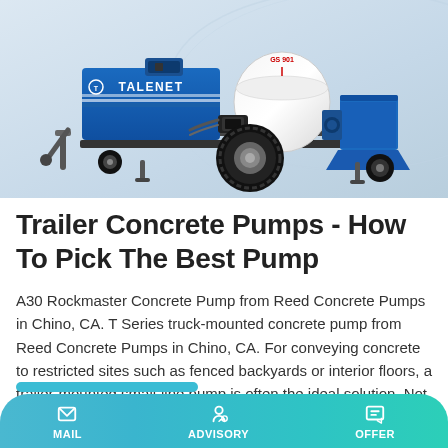[Figure (photo): Blue TALENET brand trailer-mounted concrete pump with white cylindrical tank, large black tire, and various mechanical components on a white/grey gradient background]
Trailer Concrete Pumps - How To Pick The Best Pump
A30 Rockmaster Concrete Pump from Reed Concrete Pumps in Chino, CA. T Series truck-mounted concrete pump from Reed Concrete Pumps in Chino, CA. For conveying concrete to restricted sites such as fenced backyards or interior floors, a trailer-mounted small-line pump is often the ideal solution. Not only are these compact pumps convenient for small residential pours, they can also serve as an …
MAIL   ADVISORY   OFFER